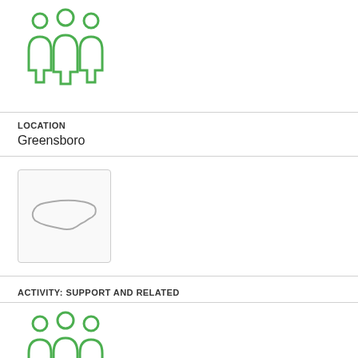[Figure (illustration): Green outline icon of three people standing together]
LOCATION
Greensboro
[Figure (map): Small map thumbnail showing the outline of North Carolina state]
ACTIVITY: SUPPORT AND RELATED
[Figure (illustration): Green outline icon of three people standing together]
LOCATION